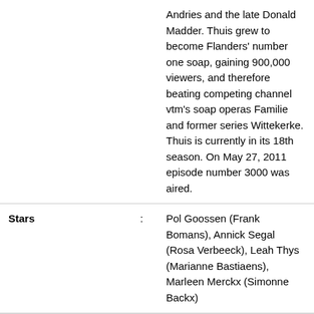|  |  | Andries and the late Donald Madder. Thuis grew to become Flanders' number one soap, gaining 900,000 viewers, and therefore beating competing channel vtm's soap operas Familie and former series Wittekerke. Thuis is currently in its 18th season. On May 27, 2011 episode number 3000 was aired. |
| Stars | : | Pol Goossen (Frank Bomans), Annick Segal (Rosa Verbeeck), Leah Thys (Marianne Bastiaens), Marleen Merckx (Simonne Backx) |
Copyright © 2022 Flix.verpelisgo.com
About US
Contact Us
DMCA
Privacy Police